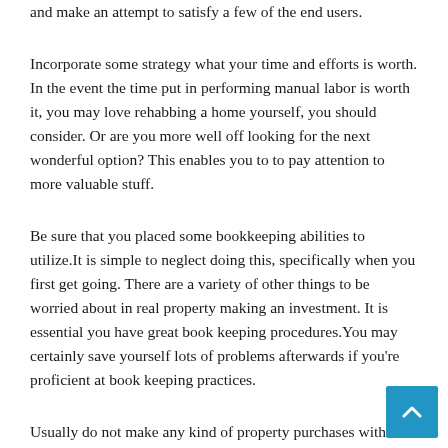and make an attempt to satisfy a few of the end users.
Incorporate some strategy what your time and efforts is worth. In the event the time put in performing manual labor is worth it, you may love rehabbing a home yourself, you should consider. Or are you more well off looking for the next wonderful option? This enables you to to pay attention to more valuable stuff.
Be sure that you placed some bookkeeping abilities to utilize.It is simple to neglect doing this, specifically when you first get going. There are a variety of other things to be worried about in real property making an investment. It is essential you have great book keeping procedures.You may certainly save yourself lots of problems afterwards if you're proficient at book keeping practices.
Usually do not make any kind of property purchases without the need of adequate capital. This hold can be used as house